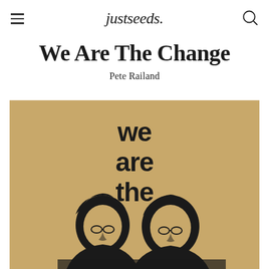justseeds
We Are The Change
Pete Railand
[Figure (illustration): Activist poster with tan/gold background showing bold stacked text 'we / are / the' above two figures (people) shown from shoulders up, with dark hair, rendered in black on a golden-tan background.]